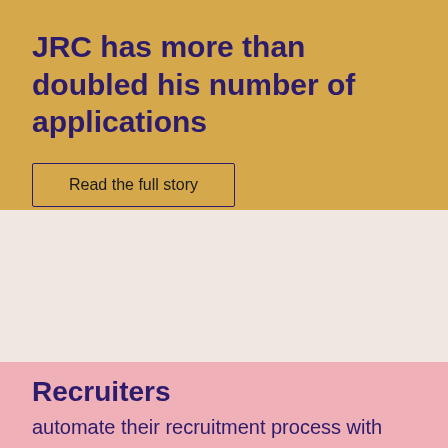JRC has more than doubled his number of applications
Read the full story
Recruiters
automate their recruitment process with